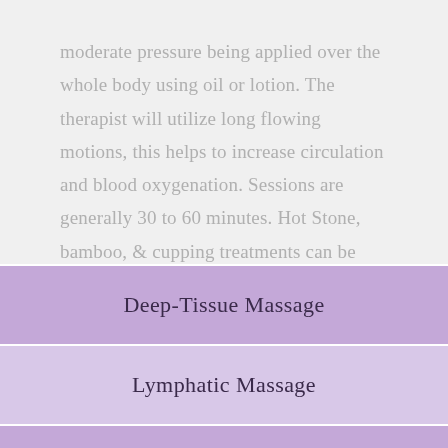moderate pressure being applied over the whole body using oil or lotion. The therapist will utilize long flowing motions, this helps to increase circulation and blood oxygenation. Sessions are generally 30 to 60 minutes. Hot Stone, bamboo, & cupping treatments can be added to the service with select therapists.
Deep-Tissue Massage
Lymphatic Massage